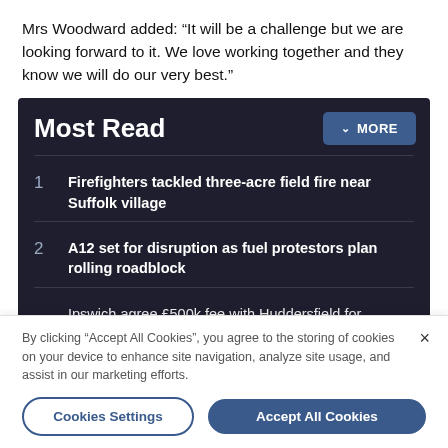Mrs Woodward added: “It will be a challenge but we are looking forward to it. We love working together and they know we will do our very best.”
Most Read
1 Firefighters tackled three-acre field fire near Suffolk village
2 A12 set for disruption as fuel protestors plan rolling roadblock
3 Ipswich agree £500k fee with Huddersfield for
By clicking “Accept All Cookies”, you agree to the storing of cookies on your device to enhance site navigation, analyze site usage, and assist in our marketing efforts.